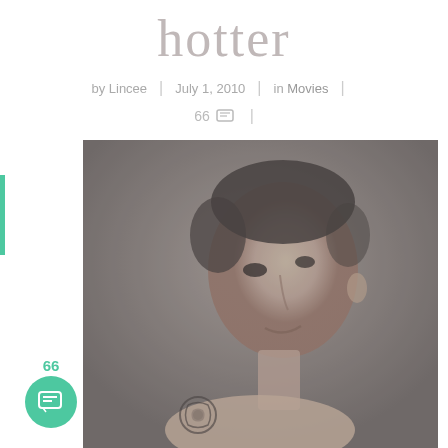hotter
by Lincee | July 1, 2010 | in Movies |
66 [comments] |
[Figure (photo): Grayscale/desaturated portrait photo of a young man with short dark hair, bare shoulders, looking intensely at the camera with a tribal tattoo visible on his shoulder.]